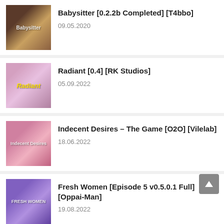Babysitter [0.2.2b Completed] [T4bbo]
09.05.2020
Radiant [0.4] [RK Studios]
05.09.2022
Indecent Desires – The Game [O2O] [Vilelab]
18.06.2022
Fresh Women [Episode 5 v0.5.0.1 Full] [Oppai-Man]
19.08.2022
Mythic Manor [0.19] [Jikei]